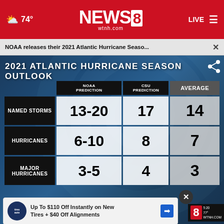74° NEWS8 wtnh.com LIVE
NOAA releases their 2021 Atlantic Hurricane Seaso... ×
[Figure (infographic): 2021 Atlantic Hurricane Season Outlook table showing NOAA Prediction, CSU Prediction, and Average columns for Named Storms (13-20, 17, 14), Hurricanes (6-10, 8, 7), and Major Hurricanes (3-5, 4, 3)]
|  | NOAA PREDICTION | CSU PREDICTION | AVERAGE |
| --- | --- | --- | --- |
| NAMED STORMS | 13-20 | 17 | 14 |
| HURRICANES | 6-10 | 8 | 7 |
| MAJOR HURRICANES | 3-5 | 4 | 3 |
Hartford HealthCare  LINCOLN NATIONAL ▼ 1.31 68.32  METLIFE, INC. ▼ 0.37 84.46  NEXSTAR ▲ 0.94 160.64  FINANCE
Hepatitis C Signs Many People May Wish They Identified...
Up To $110 Off Instantly on New Tires + $40 Off Alignments
Hep C | Sponsored Links